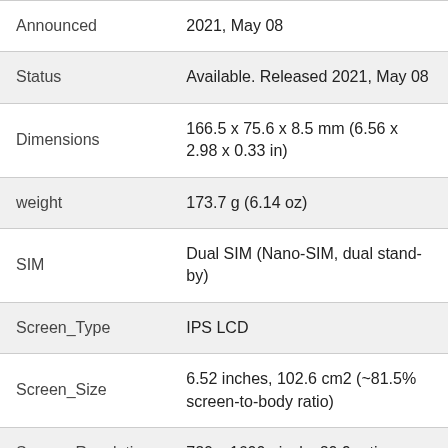| Attribute | Value |
| --- | --- |
| Announced | 2021, May 08 |
| Status | Available. Released 2021, May 08 |
| Dimensions | 166.5 x 75.6 x 8.5 mm (6.56 x 2.98 x 0.33 in) |
| weight | 173.7 g (6.14 oz) |
| SIM | Dual SIM (Nano-SIM, dual stand-by) |
| Screen_Type | IPS LCD |
| Screen_Size | 6.52 inches, 102.6 cm2 (~81.5% screen-to-body ratio) |
| Screen_Resolution | 720 x 1600 pixels, 20:9 ratio |